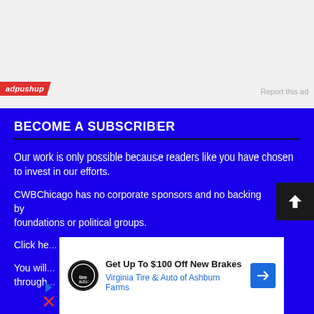[Figure (other): Ad area with light gray background, adpushup badge on lower left, 'Report this ad' text on lower right]
BECOME A SUBSCRIBER
Our work is only possible because readers like you have chosen to invest in our efforts.
CWBChicago has no corporate sponsors and no backing by foundations or political groups.
Click he...
You will... through...
[Figure (other): Inline advertisement: Virginia Tire & Auto of Ashburn Farms — Get Up To $100 Off New Brakes]